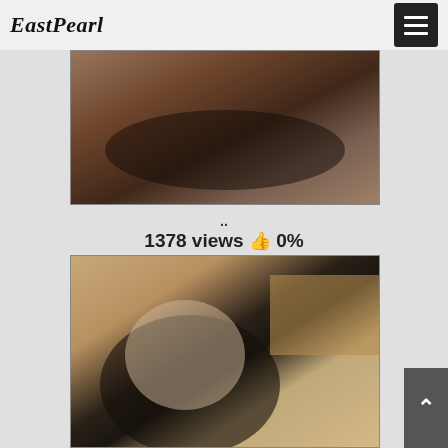EastPearl
[Figure (photo): Close-up photo with dark tones]
..
1378 views 👍 0%
[Figure (photo): Photo of a person with dark hair]
^